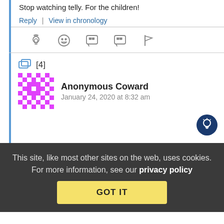Stop watching telly. For the children!
Reply | View in chronology
[Figure (infographic): Reaction icons: lightbulb, laughing face, speech bubble with quotes, speech bubble with end-quote, flag]
[4]
Anonymous Coward  January 24, 2020 at 8:32 am
[Figure (infographic): Dark blue circular button with white lightbulb icon]
This site, like most other sites on the web, uses cookies. For more information, see our privacy policy
GOT IT